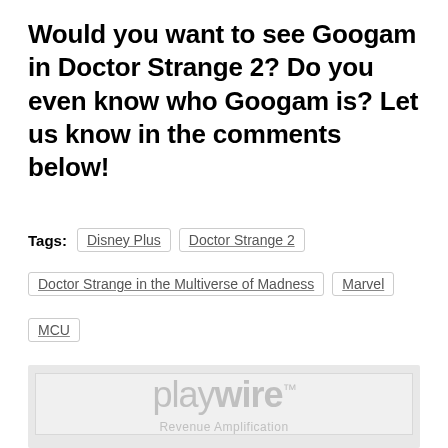Would you want to see Googam in Doctor Strange 2? Do you even know who Googam is? Let us know in the comments below!
Tags: Disney Plus  Doctor Strange 2  Doctor Strange in the Multiverse of Madness  Marvel  MCU
[Figure (logo): Playwire Revenue Amplification advertisement placeholder with logo and gray bars]